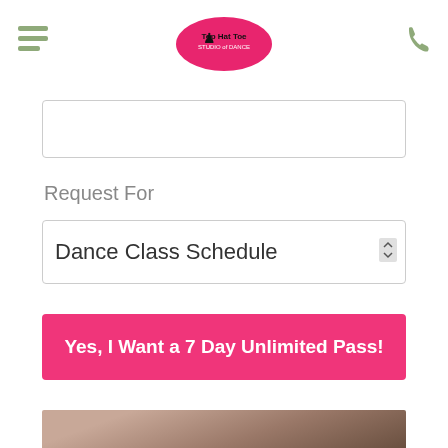Top Hat Toe Studio of Dance
[Figure (screenshot): Text input field (empty)]
Request For
[Figure (screenshot): Dropdown selector showing 'Dance Class Schedule']
[Figure (screenshot): Pink submit button with text 'Yes, I Want a 7 Day Unlimited Pass!']
[Figure (photo): Partial photo of a person at the bottom of the page]